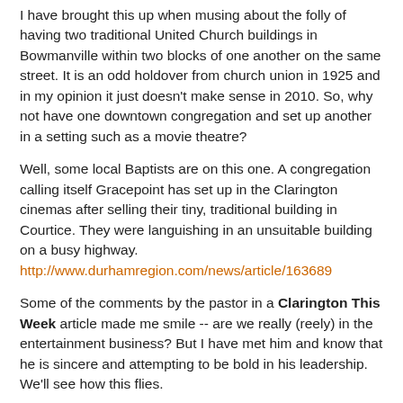I have brought this up when musing about the folly of having two traditional United Church buildings in Bowmanville within two blocks of one another on the same street. It is an odd holdover from church union in 1925 and in my opinion it just doesn't make sense in 2010. So, why not have one downtown congregation and set up another in a setting such as a movie theatre?
Well, some local Baptists are on this one. A congregation calling itself Gracepoint has set up in the Clarington cinemas after selling their tiny, traditional building in Courtice. They were languishing in an unsuitable building on a busy highway. http://www.durhamregion.com/news/article/163689
Some of the comments by the pastor in a Clarington This Week article made me smile -- are we really (reely) in the entertainment business? But I have met him and know that he is sincere and attempting to be bold in his leadership. We'll see how this flies.
What do you think of this initiative? Folly in itself, or the work of the Holy Spirit. What should this say to us?